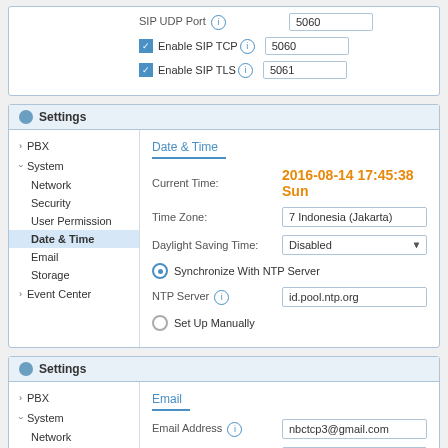| Field | Value |
| --- | --- |
| SIP UDP Port | 5060 |
| Enable SIP TCP | 5060 |
| Enable SIP TLS | 5061 |
Settings
PBX
System
Network
Security
User Permission
Date & Time
Email
Storage
Event Center
Date & Time
Current Time: 2016-08-14 17:45:38 Sun
Time Zone: 7 Indonesia (Jakarta)
Daylight Saving Time: Disabled
Synchronize With NTP Server
NTP Server: id.pool.ntp.org
Set Up Manually
Settings
PBX
System
Network
Security
Email
Email Address: nbctcp3@gmail.com
Password: ············